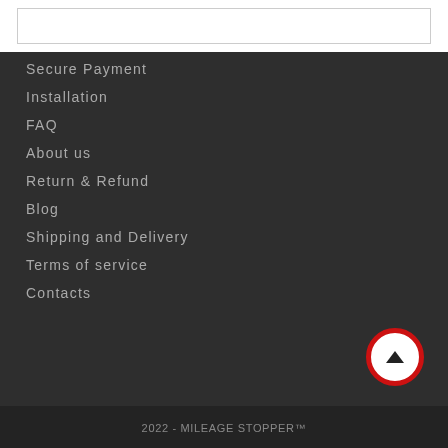Secure Payment
Installation
FAQ
About us
Return & Refund
Blog
Shipping and Delivery
Terms of service
Contacts
2022 - MILEAGE STOPPER™